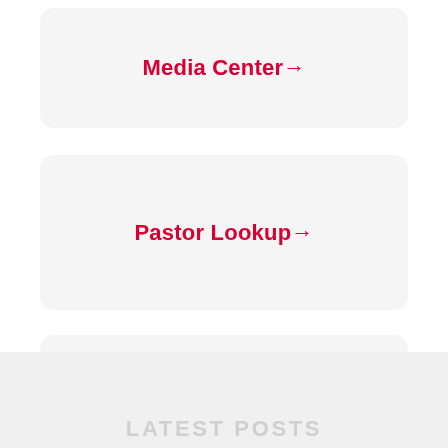Media Center→
Pastor Lookup→
Online Data Collection→
LATEST POSTS